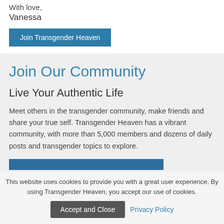With love,
Vanessa
Join Transgender Heaven
Join Our Community
Live Your Authentic Life
Meet others in the transgender community, make friends and share your true self. Transgender Heaven has a vibrant community, with more than 5,000 members and dozens of daily posts and transgender topics to explore.
This website uses cookies to provide you with a great user experience. By using Transgender Heaven, you accept our use of cookies.
Accept and Close
Privacy Policy